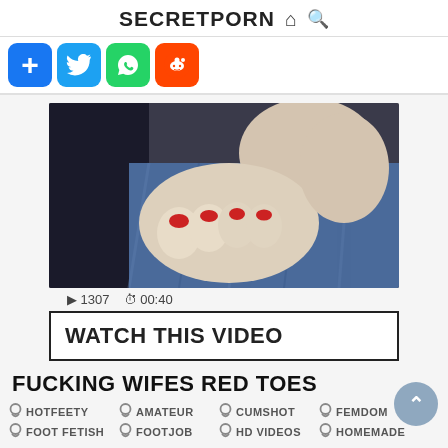SECRETPORN
[Figure (screenshot): Screenshot of a website with social share buttons: add (+), Twitter, WhatsApp, Reddit]
[Figure (photo): Close-up photo of feet/toes with red nail polish on blue fabric background]
▷ 1307  ⏱ 00:40
WATCH THIS VIDEO
FUCKING WIFES RED TOES
HOTFEETY
AMATEUR
CUMSHOT
FEMDOM
FOOT FETISH
FOOTJOB
HD VIDEOS
HOMEMADE